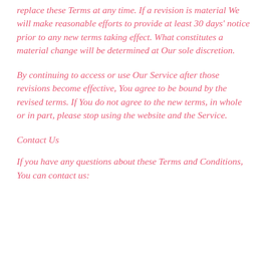replace these Terms at any time. If a revision is material We will make reasonable efforts to provide at least 30 days' notice prior to any new terms taking effect. What constitutes a material change will be determined at Our sole discretion.
By continuing to access or use Our Service after those revisions become effective, You agree to be bound by the revised terms. If You do not agree to the new terms, in whole or in part, please stop using the website and the Service.
Contact Us
If you have any questions about these Terms and Conditions, You can contact us: